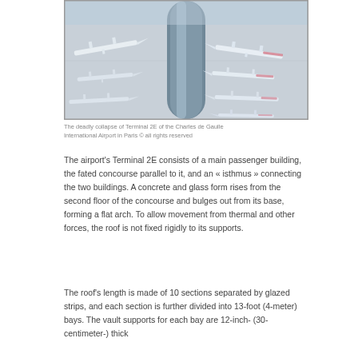[Figure (photo): Aerial view of Terminal 2E at Charles de Gaulle International Airport in Paris, showing the concourse with multiple aircraft parked at gates and a distinctive cylindrical glass roof structure running through the center.]
The deadly collapse of Terminal 2E of the Charles de Gaulle International Airport in Paris © all rights reserved
The airport's Terminal 2E consists of a main passenger building, the fated concourse parallel to it, and an « isthmus » connecting the two buildings. A concrete and glass form rises from the second floor of the concourse and bulges out from its base, forming a flat arch. To allow movement from thermal and other forces, the roof is not fixed rigidly to its supports.
The roof's length is made of 10 sections separated by glazed strips, and each section is further divided into 13-foot (4-meter) bays. The vault supports for each bay are 12-inch- (30-centimeter-) thick